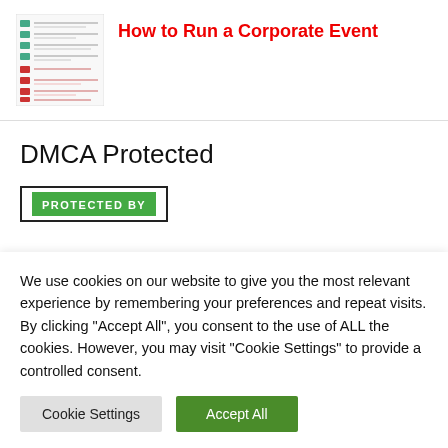[Figure (screenshot): Thumbnail screenshot of a document page showing a checklist or table with green and red rows]
How to Run a Corporate Event
DMCA Protected
[Figure (logo): DMCA Protected By badge with green background and white text]
We use cookies on our website to give you the most relevant experience by remembering your preferences and repeat visits. By clicking "Accept All", you consent to the use of ALL the cookies. However, you may visit "Cookie Settings" to provide a controlled consent.
Cookie Settings
Accept All